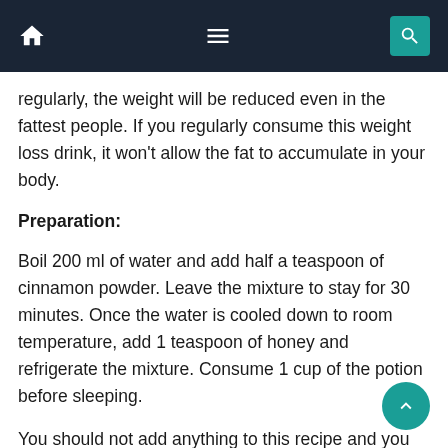[Navigation bar with home, menu, and search icons]
regularly, the weight will be reduced even in the fattest people. If you regularly consume this weight loss drink, it won't allow the fat to accumulate in your body.
Preparation:
Boil 200 ml of water and add half a teaspoon of cinnamon powder. Leave the mixture to stay for 30 minutes. Once the water is cooled down to room temperature, add 1 teaspoon of honey and refrigerate the mixture. Consume 1 cup of the potion before sleeping.
You should not add anything to this recipe and you don't need to drink this beverage during the day. It is only effective if you drink it before going to sleep.
This treatment leads to a significant reduction in body